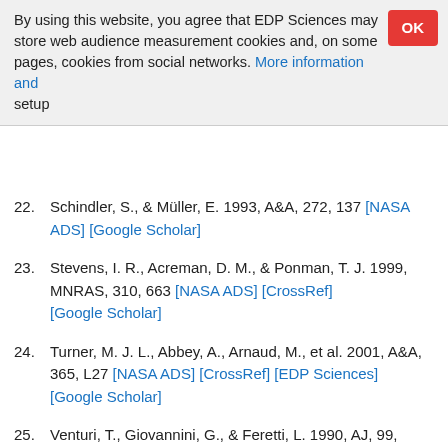By using this website, you agree that EDP Sciences may store web audience measurement cookies and, on some pages, cookies from social networks. More information and setup
22. Schindler, S., & Müller, E. 1993, A&A, 272, 137 [NASA ADS] [Google Scholar]
23. Stevens, I. R., Acreman, D. M., & Ponman, T. J. 1999, MNRAS, 310, 663 [NASA ADS] [CrossRef] [Google Scholar]
24. Turner, M. J. L., Abbey, A., Arnaud, M., et al. 2001, A&A, 365, L27 [NASA ADS] [CrossRef] [EDP Sciences] [Google Scholar]
25. Venturi, T., Giovannini, G., & Feretti, L. 1990, AJ, 99, 1381 [NASA ADS] [CrossRef] [Google Scholar]
26. Watanabe, M., Yamashita, K., Furuzawa, A., et al. 1999, ApJ, 527, 80 [NASA ADS] [CrossRef] [Google Scholar]
27. White, S. D. M., Briel, U. G., & Henry, J. P. 1993, MNRAS, 261, L8 [NASA ADS] [CrossRef] [Google Scholar]